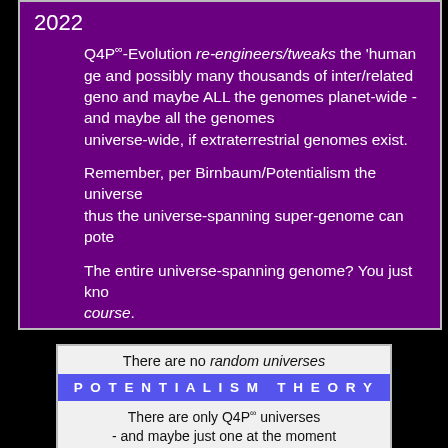2022
Q4P∞-Evolution re-engineers/tweaks the 'human genome' and possibly many thousands of inter/related genomes - and maybe ALL the genomes planet-wide - and maybe all the genomes universe-wide, if extraterrestrial genomes exist.

Remember, per Birnbaum/Potentialism the universe... thus the universe-spanning super-genome can potentially...

The entire universe-spanning genome? You just know, of course.
[Figure (infographic): White/light box with text 'There are no random universes', purple banner 'POTENTIALISM THEORY', and text 'There are only Q4P∞ universes - and maybe just one at the moment']
We are not random Mutation...